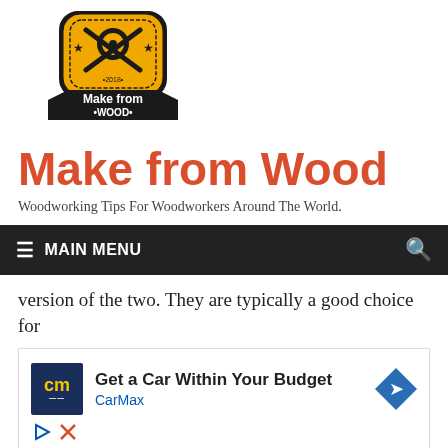[Figure (logo): Make from Wood logo: badge shape with woodworking tools, circular saw blade, stars, year 2018, on amber/yellow background with dark banner reading 'Make from WOOD']
Make from Wood
Woodworking Tips For Woodworkers Around The World.
≡  MAIN MENU
version of the two. They are typically a good choice for
[Figure (other): Advertisement: CarMax - Get a Car Within Your Budget. Blue square logo with 'cm' text. Blue navigation arrow icon on right. Play and close icons below.]